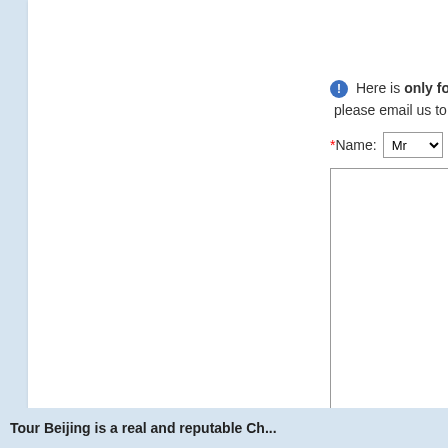Here is only for Quest... please email us to info@to...
*Name: Mr [dropdown] [text input]
[Figure (screenshot): Large text area input field for message body]
No more than 2,000 chara...
Send me an E-mail if anyc...
[Figure (screenshot): CAPTCHA image showing '13Bzf' with dotted border and a text input next to it]
Submit  Reset
Tour Beijing is a real and reputable Ch...